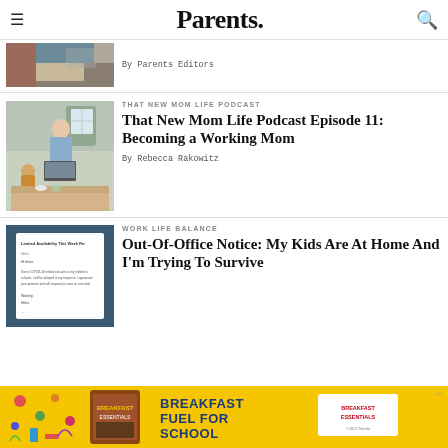Parents.
[Figure (photo): Partial thumbnail of a person at a desk working]
By Parents Editors
[Figure (photo): Woman working on laptop at kitchen table with baby nearby — That New Mom Life Podcast thumbnail]
THAT NEW MOM LIFE PODCAST
That New Mom Life Podcast Episode 11: Becoming a Working Mom
By Rebecca Rakowitz
[Figure (screenshot): Email auto-reply mockup on dark teal background reading: Limited Availability This Week Re: Hi there, Due to COVID-19 related closures in my children's schools, I will be delayed in my response. I appreciate your patience and will respond as soon as I am able. Warmly, Hitha]
WORK LIFE BALANCE
Out-Of-Office Notice: My Kids Are At Home And I'm Trying To Survive
[Figure (infographic): Advertisement banner: Breakfast Fuel For School — Breakfast Essentials, ©2022 Nestlé]